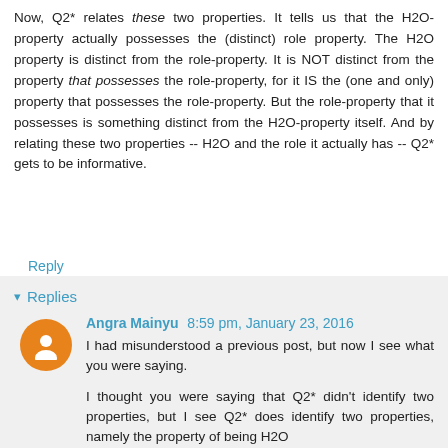Now, Q2* relates these two properties. It tells us that the H2O-property actually possesses the (distinct) role property. The H2O property is distinct from the role-property. It is NOT distinct from the property that possesses the role-property, for it IS the (one and only) property that possesses the role-property. But the role-property that it possesses is something distinct from the H2O-property itself. And by relating these two properties -- H2O and the role it actually has -- Q2* gets to be informative.
Reply
Replies
Angra Mainyu 8:59 pm, January 23, 2016
I had misunderstood a previous post, but now I see what you were saying.
I thought you were saying that Q2* didn't identify two properties, but I see Q2* does identify two properties, namely the property of being H2O and the one...